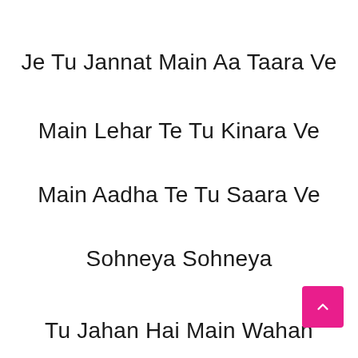Je Tu Jannat Main Aa Taara Ve
Main Lehar Te Tu Kinara Ve
Main Aadha Te Tu Saara Ve
Sohneya Sohneya
Tu Jahan Hai Main Wahan